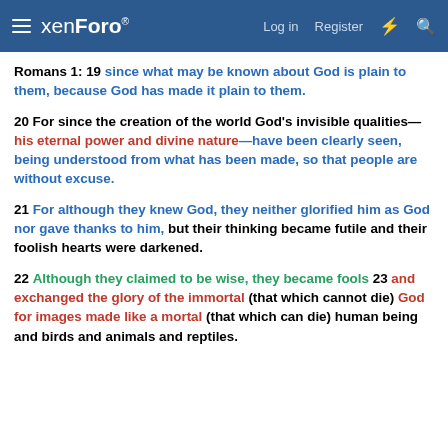xenForo — Log in  Register
Romans 1: 19 since what may be known about God is plain to them, because God has made it plain to them.
20 For since the creation of the world God's invisible qualities—his eternal power and divine nature—have been clearly seen, being understood from what has been made, so that people are without excuse.
21 For although they knew God, they neither glorified him as God nor gave thanks to him, but their thinking became futile and their foolish hearts were darkened.
22 Although they claimed to be wise, they became fools 23 and exchanged the glory of the immortal (that which cannot die) God for images made like a mortal (that which can die) human being and birds and animals and reptiles.